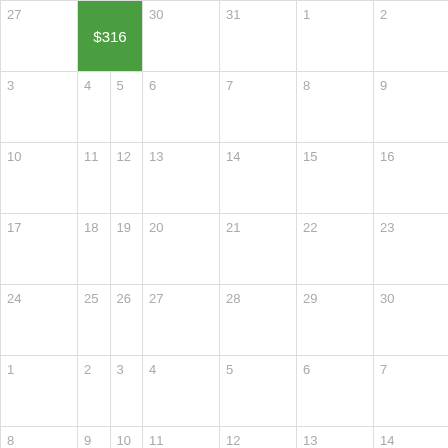| Col1 | Col2 | Col3 | Col4 | Col5 | Col6 | Col7 |
| --- | --- | --- | --- | --- | --- | --- |
| 27 | 28 $316 | 29 | 30 | 31 | 1 | 2 |
| 3 | 4 | 5 | 6 | 7 | 8 | 9 |
| 10 | 11 | 12 | 13 | 14 | 15 | 16 |
| 17 | 18 | 19 | 20 | 21 | 22 | 23 |
| 24 | 25 | 26 | 27 | 28 | 29 | 30 |
| 1 | 2 | 3 | 4 | 5 | 6 | 7 |
| 8 | 9 | 10 | 11 | 12 | 13 | 14 |